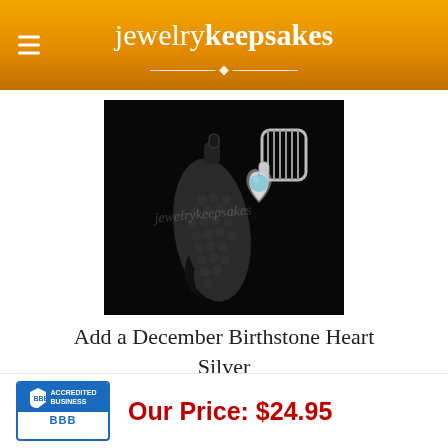jewelrykeepsakes
[Figure (photo): Product photo of a December Birthstone Heart Silver pendant — a dark gunmetal angel wing charm with a silver heart charm featuring a blue topaz stone, hanging from a silver chain, on a black background with a watermark reading 'jewelrykeepsakes'.]
Add a December Birthstone Heart Silver
[Figure (logo): BBB Accredited Business logo — blue shield with BBB text, reads ACCREDITED BUSINESS]
Our Price: $24.95